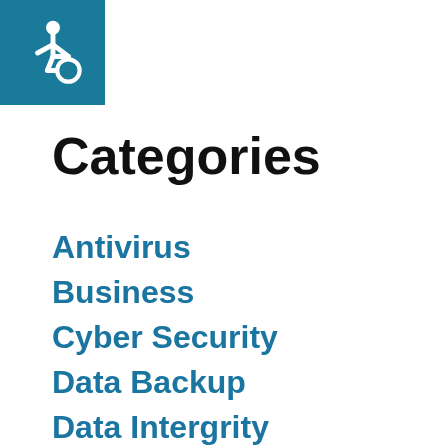[Figure (logo): Accessibility wheelchair icon in white on teal/dark cyan background square]
Categories
Antivirus
Business
Cyber Security
Data Backup
Data Intergrity
Data Protection
Data Recovery
Data Security